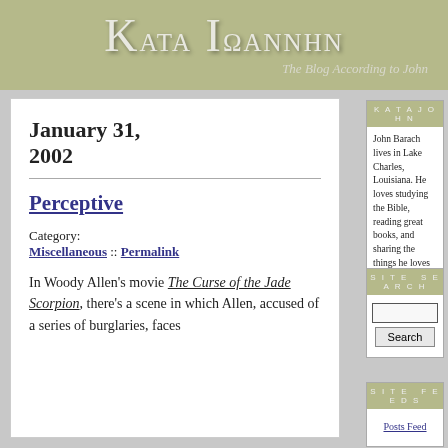KATA IΩANNHN — The Blog According to John
January 31, 2002
Perceptive
Category: Miscellaneous :: Permalink
In Woody Allen's movie The Curse of the Jade Scorpion, there's a scene in which Allen, accused of a series of burglaries, faces
KATAJOHN
John Barach lives in Lake Charles, Louisiana. He loves studying the Bible, reading great books, and sharing the things he loves with his four children.
SITE SEARCH
SITE FEEDS
Posts Feed